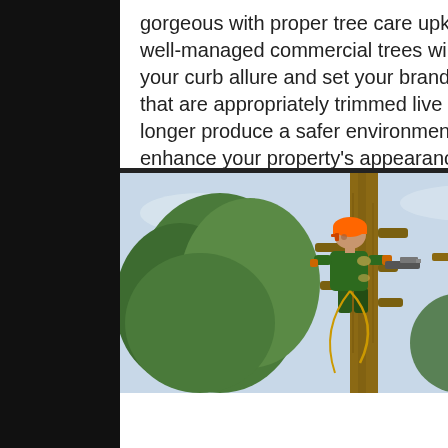gorgeous with proper tree care upkeep. Your well-managed commercial trees will boost your curb allure and set your brand.: Trees that are appropriately trimmed live much longer produce a safer environment and to enhance your property's appearance.
[Figure (photo): An arborist wearing an orange helmet and green jacket is working high up in a tree, holding a chainsaw while secured with ropes. The tree is large and partially trimmed. The background shows a light blue sky.]
TREE REMOVALS
Each and every tree is either an asset or liability. If a risk analysis reveals a potential